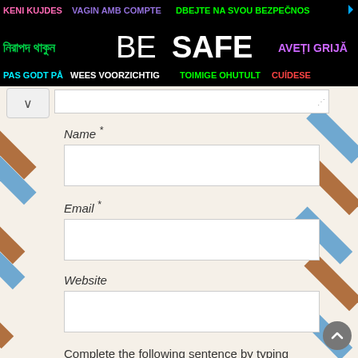[Figure (infographic): Multilingual 'Be Safe' banner advertisement with text in multiple languages including English, Bengali, Albanian, Catalan, Czech, Romanian, Finnish, Estonian, Spanish, Dutch, Norwegian, Danish. Black background with colorful text.]
Name *
Email *
Website
Complete the following sentence by typing either real or spam: